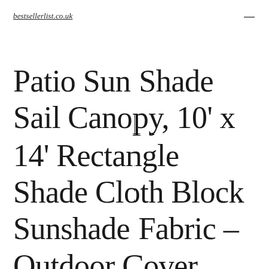bestsellerlist.co.uk
Patio Sun Shade Sail Canopy, 10' x 14' Rectangle Shade Cloth Block Sunshade Fabric – Outdoor Cover Awning Shelter